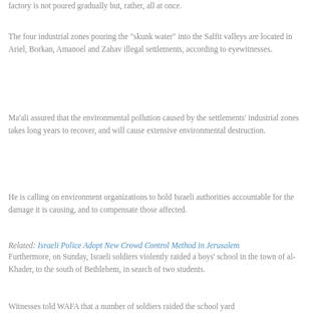factory is not poured gradually but, rather, all at once.
The four industrial zones pouring the "skunk water" into the Salfit valleys are located in Ariel, Borkan, Amanoel and Zahav illegal settlements, according to eyewitnesses.
Ma'ali assured that the environmental pollution caused by the settlements' industrial zones takes long years to recover, and will cause extensive environmental destruction.
He is calling on environment organizations to hold Israeli authorities accountable for the damage it is causing, and to compensate those affected.
Related: Israeli Police Adopt New Crowd Control Method in Jerusalem
Furthermore, on Sunday, Israeli soldiers violently raided a boys' school in the town of al-Khader, to the south of Bethlehem, in search of two students.
Witnesses told WAFA that a number of soldiers raided the school yard